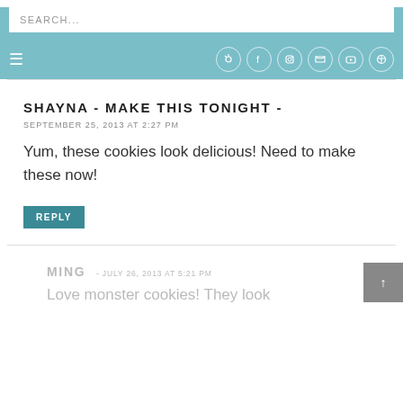SEARCH... [navigation bar with social icons: Pinterest, Facebook, Instagram, Twitter, YouTube, RSS]
SHAYNA - MAKE THIS TONIGHT -
SEPTEMBER 25, 2013 AT 2:27 PM
Yum, these cookies look delicious! Need to make these now!
REPLY
MING
JULY 26, 2013 AT 5:21 PM
Love monster cookies! They look